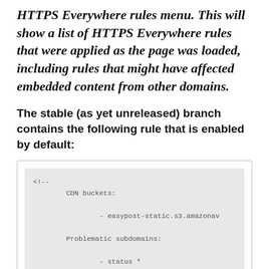HTTPS Everywhere rules menu. This will show a list of HTTPS Everywhere rules that were applied as the page was loaded, including rules that might have affected embedded content from other domains.
The stable (as yet unreleased) branch contains the following rule that is enabled by default:
<!--
        CDN buckets:

                - easypost-static.s3.amazonav

        Problematic subdomains:

                - status *

        * StatusPage

        Fully covered hosts in *easypost.com